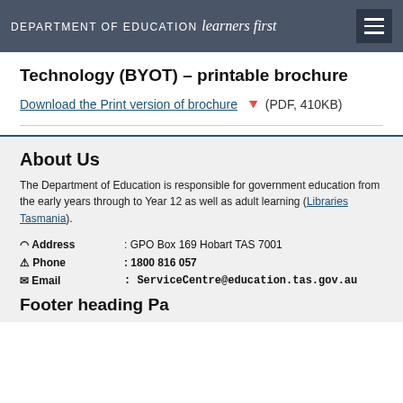DEPARTMENT OF EDUCATION learners first
Technology (BYOT) – printable brochure
Download the Print version of brochure 🔻 (PDF, 410KB)
About Us
The Department of Education is responsible for government education from the early years through to Year 12 as well as adult learning (Libraries Tasmania).
| 📍 Address | : GPO Box 169 Hobart TAS 7001 |
| 👤 Phone | : 1800 816 057 |
| ✉ Email | : ServiceCentre@education.tas.gov.au |
Footer heading (partially visible)